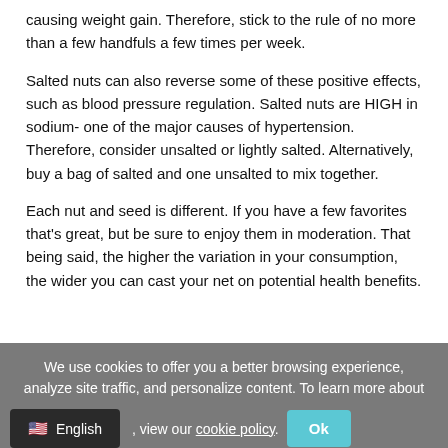causing weight gain. Therefore, stick to the rule of no more than a few handfuls a few times per week.
Salted nuts can also reverse some of these positive effects, such as blood pressure regulation. Salted nuts are HIGH in sodium- one of the major causes of hypertension. Therefore, consider unsalted or lightly salted. Alternatively, buy a bag of salted and one unsalted to mix together.
Each nut and seed is different. If you have a few favorites that's great, but be sure to enjoy them in moderation. That being said, the higher the variation in your consumption, the wider you can cast your net on potential health benefits.
We use cookies to offer you a better browsing experience, analyze site traffic, and personalize content. To learn more about , view our cookie policy. Ok